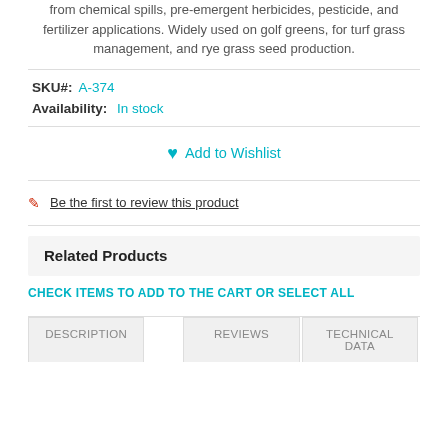from chemical spills, pre-emergent herbicides, pesticide, and fertilizer applications. Widely used on golf greens, for turf grass management, and rye grass seed production.
SKU#: A-374
Availability: In stock
Add to Wishlist
Be the first to review this product
Related Products
CHECK ITEMS TO ADD TO THE CART OR SELECT ALL
DESCRIPTION | REVIEWS | TECHNICAL DATA